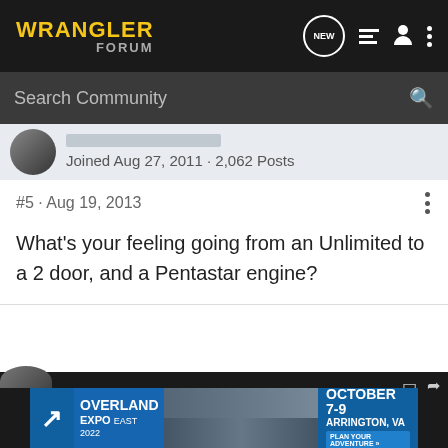WRANGLER FORUM
Search Community
Joined Aug 27, 2011 · 2,062 Posts
#5 · Aug 19, 2013
What's your feeling going from an Unlimited to a 2 door, and a Pentastar engine?
[Figure (photo): Overland Expo East 2022 advertisement banner: October 7-9, Arrington, VA. Plan Your Adventure.]